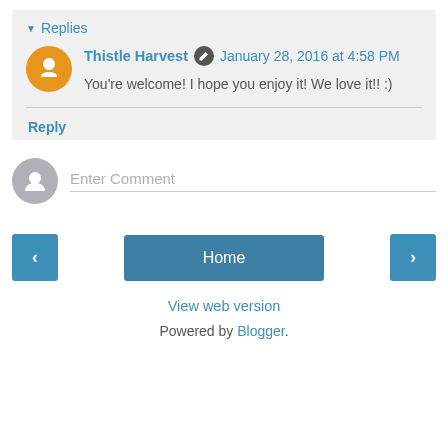▾ Replies
Thistle Harvest  January 28, 2016 at 4:58 PM
You're welcome! I hope you enjoy it! We love it!! :)
Reply
Enter Comment
‹
Home
›
View web version
Powered by Blogger.